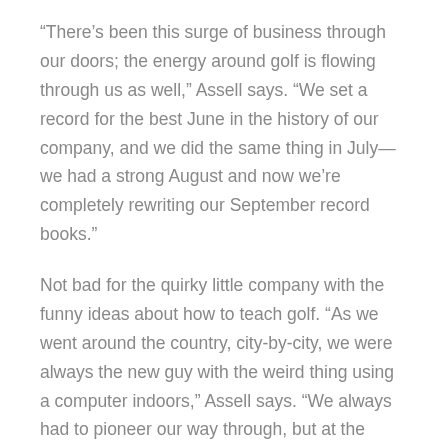“There’s been this surge of business through our doors; the energy around golf is flowing through us as well,” Assell says. “We set a record for the best June in the history of our company, and we did the same thing in July—we had a strong August and now we’re completely rewriting our September record books.”
Not bad for the quirky little company with the funny ideas about how to teach golf. “As we went around the country, city-by-city, we were always the new guy with the weird thing using a computer indoors,” Assell says. “We always had to pioneer our way through, but at the